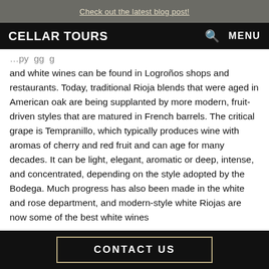Check out the latest blog post!
CELLAR TOURS  MENU
and white wines can be found in Logroños shops and restaurants. Today, traditional Rioja blends that were aged in American oak are being supplanted by more modern, fruit-driven styles that are matured in French barrels. The critical grape is Tempranillo, which typically produces wine with aromas of cherry and red fruit and can age for many decades. It can be light, elegant, aromatic or deep, intense, and concentrated, depending on the style adopted by the Bodega. Much progress has also been made in the white and rose department, and modern-style white Riojas are now some of the best white wines
CONTACT US